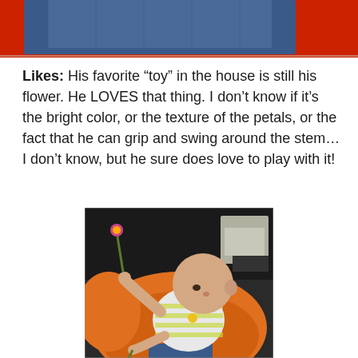[Figure (photo): Partial top photo showing jeans and red background, cropped at the top of the page]
Likes: His favorite “toy” in the house is still his flower. He LOVES that thing. I don’t know if it’s the bright color, or the texture of the petals, or the fact that he can grip and swing around the stem… I don’t know, but he sure does love to play with it!
[Figure (photo): Baby sitting in an orange bouncy seat, holding a flower stem, wearing a yellow and white striped onesie, with dark furniture in the background]